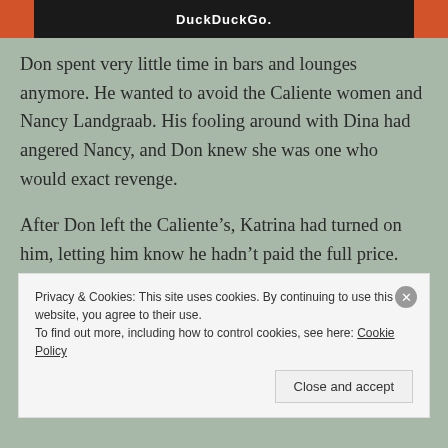[Figure (screenshot): Top banner with DuckDuckGo logo on dark background with orange side panels]
Don spent very little time in bars and lounges anymore. He wanted to avoid the Caliente women and Nancy Landgraab. His fooling around with Dina had angered Nancy, and Don knew she was one who would exact revenge.
After Don left the Caliente’s, Katrina had turned on him, letting him know he hadn’t paid the full price. “Nancy knows what you’ve done,” Katrina texted. “You
Privacy & Cookies: This site uses cookies. By continuing to use this website, you agree to their use.
To find out more, including how to control cookies, see here: Cookie Policy
Close and accept